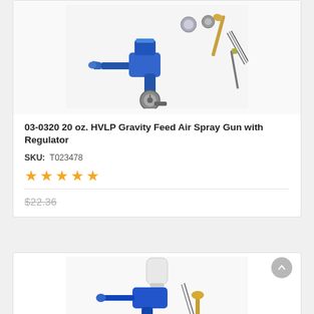[Figure (photo): HVLP gravity feed air spray gun with regulator, blue and silver, with accessories including caps, needles, and wrench, on white background]
03-0320 20 oz. HVLP Gravity Feed Air Spray Gun with Regulator
SKU: T023478
★★★★★ (5 stars rating)
$22.36 (strikethrough price)
[Figure (photo): HVLP gravity feed air spray gun with white cup, blue body, with accessories, partially visible at bottom of page]